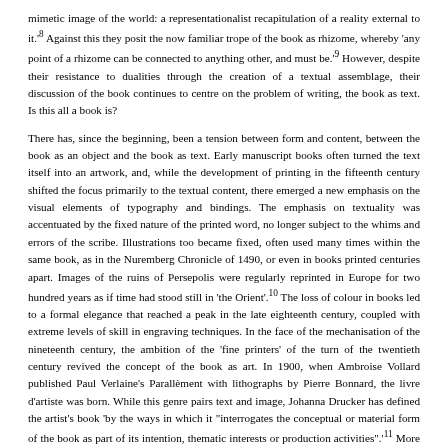mimetic image of the world: a representationalist recapitulation of a reality external to it.'8 Against this they posit the now familiar trope of the book as rhizome, whereby 'any point of a rhizome can be connected to anything other, and must be.'9 However, despite their resistance to dualities through the creation of a textual assemblage, their discussion of the book continues to centre on the problem of writing, the book as text. Is this all a book is?
There has, since the beginning, been a tension between form and content, between the book as an object and the book as text. Early manuscript books often turned the text itself into an artwork, and, while the development of printing in the fifteenth century shifted the focus primarily to the textual content, there emerged a new emphasis on the visual elements of typography and bindings. The emphasis on textuality was accentuated by the fixed nature of the printed word, no longer subject to the whims and errors of the scribe. Illustrations too became fixed, often used many times within the same book, as in the Nuremberg Chronicle of 1490, or even in books printed centuries apart. Images of the ruins of Persepolis were regularly reprinted in Europe for two hundred years as if time had stood still in 'the Orient'.10 The loss of colour in books led to a formal elegance that reached a peak in the late eighteenth century, coupled with extreme levels of skill in engraving techniques. In the face of the mechanisation of the nineteenth century, the ambition of the 'fine printers' of the turn of the twentieth century revived the concept of the book as art. In 1900, when Ambroise Vollard published Paul Verlaine's Parallèment with lithographs by Pierre Bonnard, the livre d'artiste was born. While this genre pairs text and image, Johanna Drucker has defined the artist's book 'by the ways in which it "interrogates the conceptual or material form of the book as part of its intention, thematic interests or production activities".'11 More recently a new genre has emerged, which Garrett Stewart has described as the 'book-work'. 'The book-work – as material object – once denied its mediating purpose as verbal text, can only be studied for the bookwork – as conceptual labor – it performs.'12